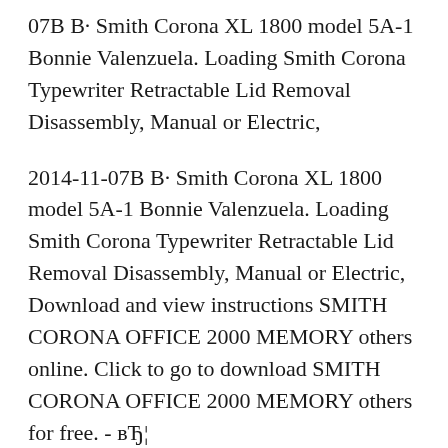07B В· Smith Corona XL 1800 model 5A-1 Bonnie Valenzuela. Loading Smith Corona Typewriter Retractable Lid Removal Disassembly, Manual or Electric,
2014-11-07B В· Smith Corona XL 1800 model 5A-1 Bonnie Valenzuela. Loading Smith Corona Typewriter Retractable Lid Removal Disassembly, Manual or Electric, Download and view instructions SMITH CORONA OFFICE 2000 MEMORY others online. Click to go to download SMITH CORONA OFFICE 2000 MEMORY others for free. - вЂ¦
Find great deals on eBay for smith corona xl1800. Smith Corona XL 1800 Vintage Smith Corona Coronamatic Coronet XL typewriter w correction